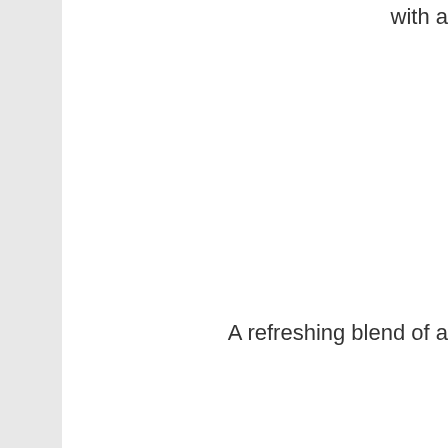with a
A refreshing blend of a
Fresh greens, local blu seed dressing…..
HO Using special curing a s
This recipe comes from